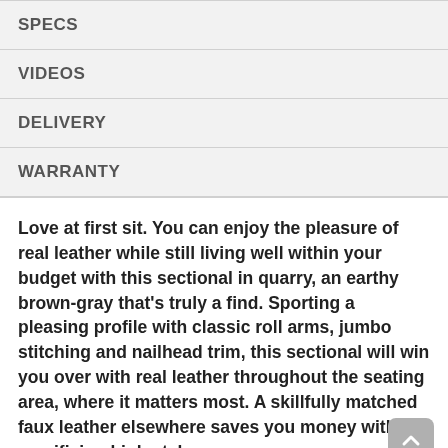SPECS
VIDEOS
DELIVERY
WARRANTY
Love at first sit. You can enjoy the pleasure of real leather while still living well within your budget with this sectional in quarry, an earthy brown-gray that's truly a find. Sporting a pleasing profile with classic roll arms, jumbo stitching and nailhead trim, this sectional will win you over with real leather throughout the seating area, where it matters most. A skillfully matched faux leather elsewhere saves you money without sacrificing high style.